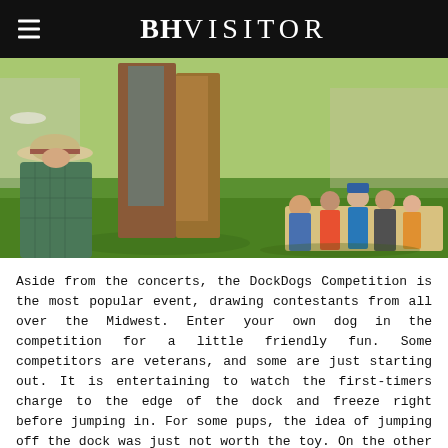BHVISITOR
[Figure (photo): Outdoor scene on a green lawn. In the foreground left, a person wearing a wide-brimmed hat and plaid shirt sits with their back to camera. Center, a tall wooden/metal structure or display stands on the grass. On the right background, a group of people including children are relaxing on a blanket on the grass. Trees and buildings are visible in the far background.]
Aside from the concerts, the DockDogs Competition is the most popular event, drawing contestants from all over the Midwest. Enter your own dog in the competition for a little friendly fun. Some competitors are veterans, and some are just starting out. It is entertaining to watch the first-timers charge to the edge of the dock and freeze right before jumping in. For some pups, the idea of jumping off the dock was just not worth the toy. On the other hand, for Julie Jones and her dog Maximus Cash, this has